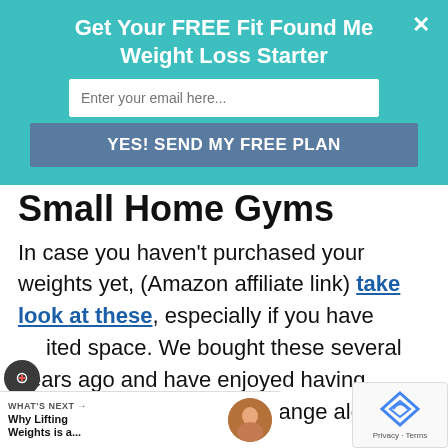Get Your FREE Fit Found Me Weight Loss Starter
Enter your email here...
YES! SEND MY FREE PLAN
Small Home Gyms
In case you haven't purchased your weights yet, (Amazon affiliate link) take look at these, especially if you have limited space. We bought these several years ago and have enjoyed having the of the weight range along w the compact equipment.